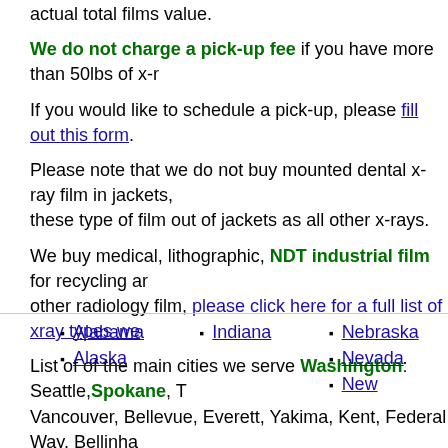actual total films value.
We do not charge a pick-up fee if you have more than 50lbs of x-r
If you would like to schedule a pick-up, please fill out this form.
Please note that we do not buy mounted dental x-ray film in jackets, these type of film out of jackets as all other x-rays.
We buy medical, lithographic, NDT industrial film for recycling ar other radiology film, please click here for a full list of xray types we
List of of the main cities we serve Washington: Seattle, Spokane, T Vancouver, Bellevue, Everett, Yakima, Kent, Federal Way, Bellinha
Seattle Washington x-ray recycling services.
We take all types of x-rays including Medical Industrial lithographic destructive testing NDT film.
Check Washington state law for retention period of x-rays and other records prior to recycling.
Alabama
Alaska
Indiana
Nebraska
Nevada
New